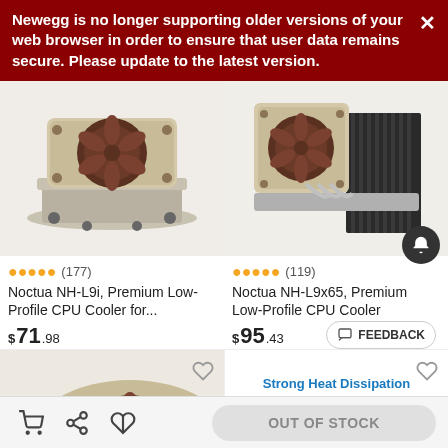Newegg is no longer supporting older versions of your web browser in order to ensure that user data remains secure. Please update to the latest version.
[Figure (photo): Noctua NH-L9i low-profile CPU cooler with beige/brown fan, top-down angled view]
[Figure (photo): Noctua NH-L9x65 low-profile CPU cooler with beige/brown fan and black heatsink fins, side view]
★★★★★ (177)
Noctua NH-L9i, Premium Low-Profile CPU Cooler for...
$71.98
★★★★★ (119)
Noctua NH-L9x65, Premium Low-Profile CPU Cooler
$95.43
[Figure (photo): Noctua CPU cooler partial view at bottom of page]
Strong Heat Dissipation Cooling Down 10-25°C
Double-Sided & Groove Design
OUT OF STOCK